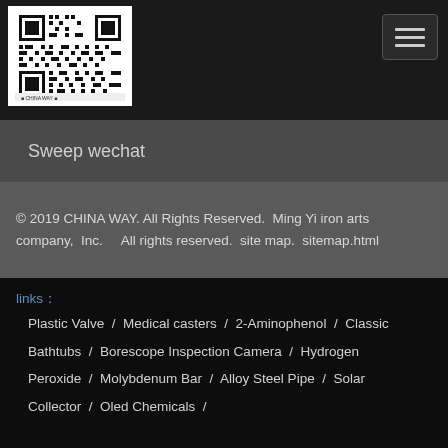[Figure (other): QR code image for WeChat sweep]
Sweep wechat
© 2019 CHINA WAY. All Rights Reserved.  Ming Yi iron arts company,  Inc.      All rights reserved.  site map.  sitemap.html
links：
Plastic Valve  /  Medical casters  /  2-Aminophenol  /  Classic Bathtubs  /  Borescope Inspection Camera  /  Hydrogen Peroxide  /  Molybdenum Bar  /  Alloy Steel Pipe  /  Solar Collector  /  Oled Chemicals  /